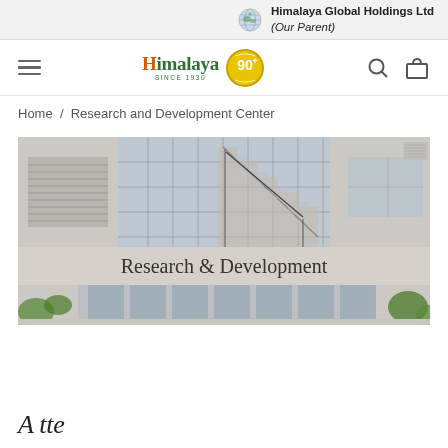Himalaya Global Holdings Ltd (Our Parent)
[Figure (screenshot): Himalaya brand navigation bar with hamburger menu, Himalaya Since 1930 logo with 90+ anniversary badge, search icon, and shopping bag icon]
Home / Research and Development Center
[Figure (photo): Exterior photograph of a multi-story Research & Development building with glass facade, showing a staircase through the glass, with 'Research & Development' text on the building facade, trees visible in foreground]
A tte